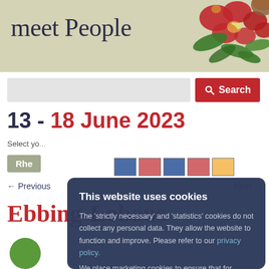meet People
[Figure (illustration): Decorative illustration of red flowers and green leaves in top right corner of header banner]
Search
13 - 18 June 2023
Select yo...
Rhe
← Previous
Next →
Ebbing-Lobaus
This website uses cookies
The 'strictly necessary' and 'statistics' cookies do not collect any personal data. They allow the website to function and improve. Please refer to our privacy policy.
We place marketing cookies to ensure that for instance the embedded content from social media can be displayed. You can indicate which cookies we are allowed to place via the cookie settings.
Accept Cookies